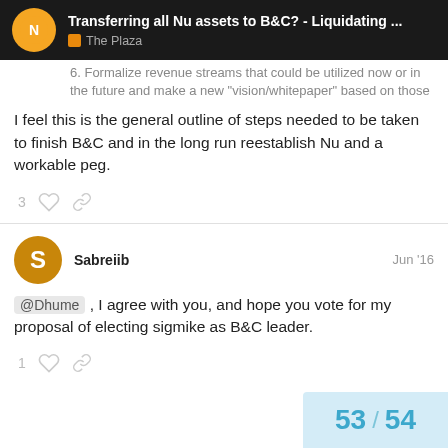Transferring all Nu assets to B&C? - Liquidating ... | The Plaza
6. Formalize revenue streams that could be utilized now or in the future and make a new “vision/whitepaper” based on those
I feel this is the general outline of steps needed to be taken to finish B&C and in the long run reestablish Nu and a workable peg.
3 ♡ 🔗
Sabreiib  Jun ’16
@Dhume , I agree with you, and hope you vote for my proposal of electing sigmike as B&C leader.
1 ♡ 🔗
53 / 54